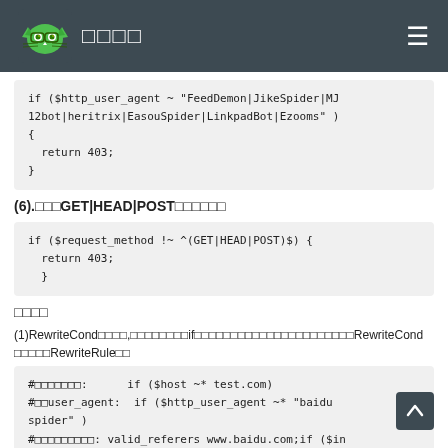□□□□
if ($http_user_agent ~ "FeedDemon|JikeSpider|MJ12bot|heritrix|EasouSpider|LinkpadBot|Ezooms" )
{
  return 403;
}
(6).□□□GET|HEAD|POST□□□□□□
if ($request_method !~ ^(GET|HEAD|POST)$) {
  return 403;
  }
□□□□
(1)RewriteCond□□□□,□□□□□□□□if□□□□□□□□□□□□□□□□□□□□□□RewriteCond □□□□□RewriteRule□□
#□□□□□□□:      if ($host ~* test.com)
#□□user_agent:  if ($http_user_agent ~* "baidu spider" )
#□□□□□□□□□: valid_referers www.baidu.com;if ($in